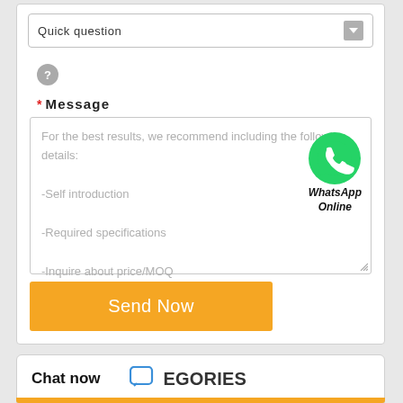Quick question
[Figure (other): Question mark icon circle]
* Message
For the best results, we recommend including the following details:
-Self introduction
-Required specifications
-Inquire about price/MOQ
[Figure (logo): WhatsApp Online badge with green phone icon]
Send Now
Chat now
EGORIES